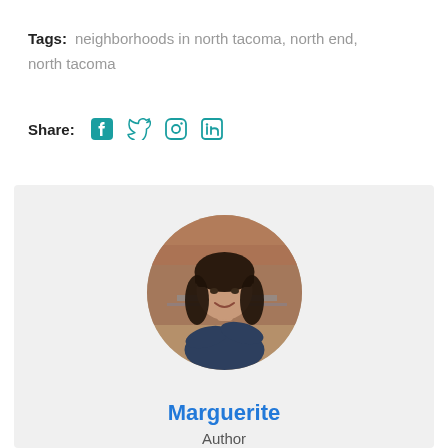Tags: neighborhoods in north tacoma, north end, north tacoma
Share:
[Figure (other): Author profile photo of Marguerite — a woman with dark hair, smiling, arms crossed, in a circular crop against a blurred outdoor background]
Marguerite
Author